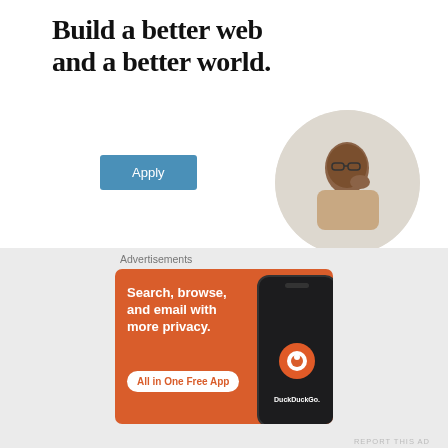Build a better web and a better world.
[Figure (illustration): A circular portrait photo of a young Black man resting his chin on his hand, wearing a beige shirt, looking contemplative]
REPORT THIS AD
Apply
Share this:
Twitter  Facebook  Email
Advertisements
[Figure (screenshot): DuckDuckGo advertisement banner with orange background. Text: 'Search, browse, and email with more privacy. All in One Free App' with DuckDuckGo logo and phone mockup]
REPORT THIS AD